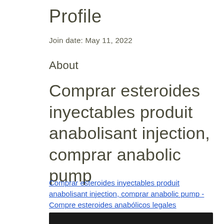Profile
Join date: May 11, 2022
About
Comprar esteroides inyectables produit anabolisant injection, comprar anabolic pump
Comprar esteroides inyectables produit anabolisant injection, comprar anabolic pump - Compre esteroides anabólicos legales
[Figure (photo): Partially visible dark photograph at the bottom of the page]